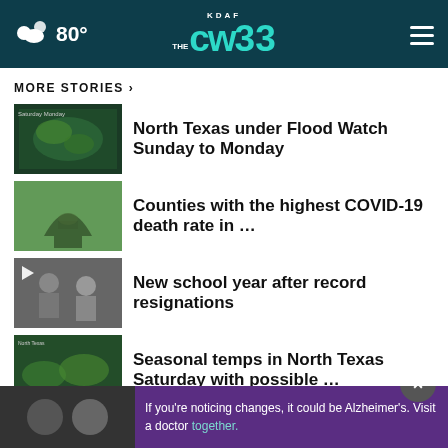80° KDAF CW33
MORE STORIES ›
North Texas under Flood Watch Sunday to Monday
Counties with the highest COVID-19 death rate in …
New school year after record resignations
Seasonal temps in North Texas Saturday with possible …
$1.0 000 ... Mega Millions ticket
If you're noticing changes, it could be Alzheimer's. Visit a doctor together.